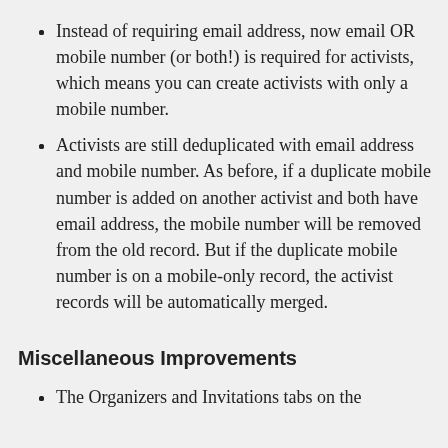Instead of requiring email address, now email OR mobile number (or both!) is required for activists, which means you can create activists with only a mobile number.
Activists are still deduplicated with email address and mobile number. As before, if a duplicate mobile number is added on another activist and both have email address, the mobile number will be removed from the old record. But if the duplicate mobile number is on a mobile-only record, the activist records will be automatically merged.
Miscellaneous Improvements
The Organizers and Invitations tabs on the